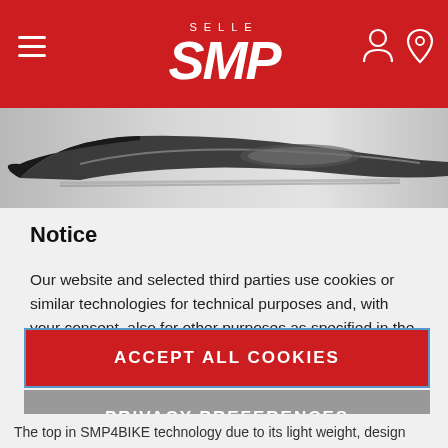SELLE SMP
[Figure (photo): Bicycle saddle product image in grayscale, showing a sleek narrow saddle from the side]
Notice
Our website and selected third parties use cookies or similar technologies for technical purposes and, with your consent, also for other purposes as specified in the cookie policy.
ACCEPT ALL COOKIES
PRIVACY PREFERENCES
The top in SMP4BIKE technology due to its light weight, design